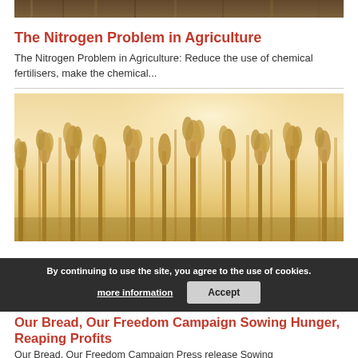[Figure (photo): Partial view of agricultural/crop field image at top of page]
The Nitrogen Problem in Agriculture
The Nitrogen Problem in Agriculture: Reduce the use of chemical fertilisers, make the chemical...
[Figure (photo): Wheat field with golden stalks in warm sunlight]
Our Bread, Our Freedom Campaign Sowing Hunger, Reaping Profits
Our Bread, Our Freedom Campaign Press release Sowing